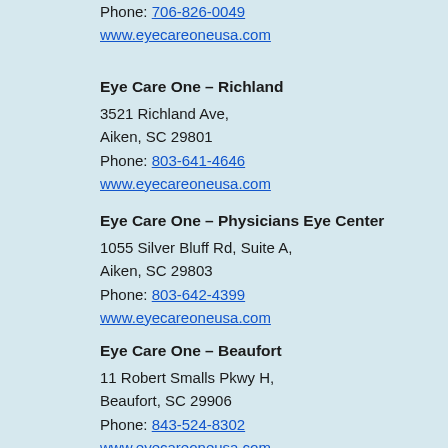Phone: 706-826-0049
www.eyecareoneusa.com
Eye Care One – Richland
3521 Richland Ave,
Aiken, SC 29801
Phone: 803-641-4646
www.eyecareoneusa.com
Eye Care One – Physicians Eye Center
1055 Silver Bluff Rd, Suite A,
Aiken, SC 29803
Phone: 803-642-4399
www.eyecareoneusa.com
Eye Care One – Beaufort
11 Robert Smalls Pkwy H,
Beaufort, SC 29906
Phone: 843-524-8302
www.eyecareoneusa.com